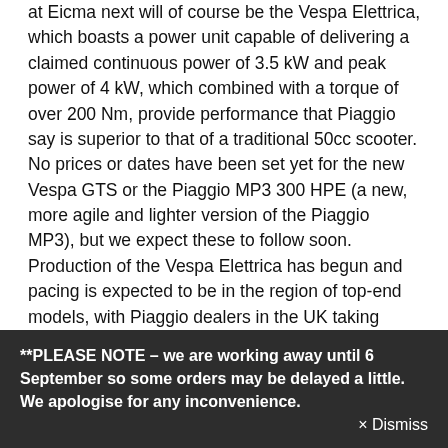at Eicma next will of course be the Vespa Elettrica, which boasts a power unit capable of delivering a claimed continuous power of 3.5 kW and peak power of 4 kW, which combined with a torque of over 200 Nm, provide performance that Piaggio say is superior to that of a traditional 50cc scooter. No prices or dates have been set yet for the new Vespa GTS or the Piaggio MP3 300 HPE (a new, more agile and lighter version of the Piaggio MP3), but we expect these to follow soon. Production of the Vespa Elettrica has begun and pacing is expected to be in the region of top-end models, with Piaggio dealers in the UK taking orders from interested parties now. Visit https://www.piaggiogroup.co.uk for more information.
**PLEASE NOTE – we are working away until 6 September so some orders may be delayed a little. We apologise for any inconvenience. × Dismiss